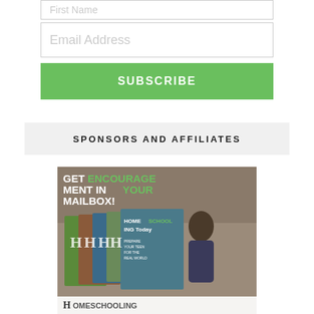First Name
Email Address
SUBSCRIBE
SPONSORS AND AFFILIATES
[Figure (illustration): Advertisement for Homeschooling Today magazine showing stacked magazine covers with text 'GET ENCOURAGEMENT IN YOUR MAILBOX!' and 'PREPARE YOUR TEEN FOR THE REAL WORLD' and 'HOMESCHOOLING Today' with partial text 'HOMESCHOOLING' at bottom]